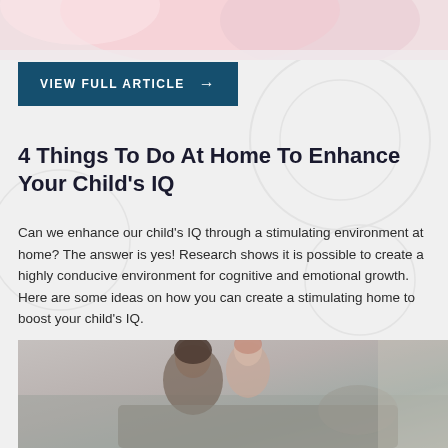[Figure (photo): Partial cropped photo at the top, showing light pink and soft tones, appears to be part of a child or person image]
VIEW FULL ARTICLE →
4 Things To Do At Home To Enhance Your Child's IQ
Can we enhance our child's IQ through a stimulating environment at home? The answer is yes! Research shows it is possible to create a highly conducive environment for cognitive and emotional growth. Here are some ideas on how you can create a stimulating home to boost your child's IQ.
[Figure (photo): Photo of a mother and young daughter sitting together on a couch, looking at something together, cozy home setting]